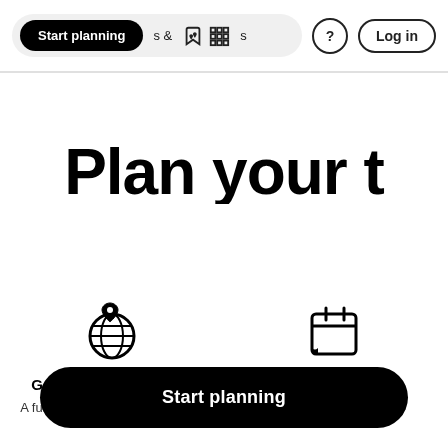Start planning  &  Activities  ?  Log in
Plan your t
[Figure (illustration): Globe icon with a location pin marker]
Get a personalized trip
A full day by day itinerary based
[Figure (illustration): Calendar icon]
Customize it
Define your trip. We'll a
Start planning